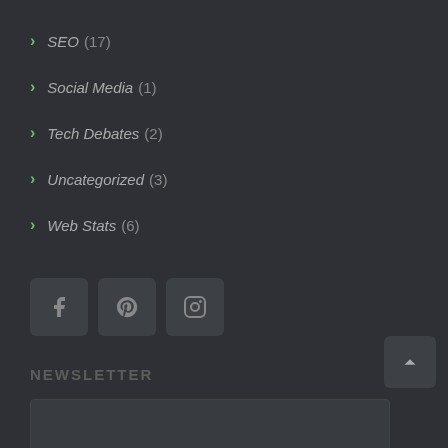SEO (17)
Social Media (1)
Tech Debates (2)
Uncategorized (3)
Web Stats (6)
[Figure (infographic): Social media icon buttons for Facebook, Pinterest, and Instagram in dark rounded square boxes]
NEWSLETTER
Join our mailing list to receive news and